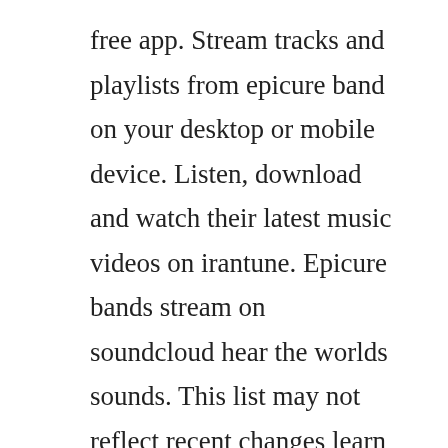free app. Stream tracks and playlists from epicure band on your desktop or mobile device. Listen, download and watch their latest music videos on irantune. Epicure bands stream on soundcloud hear the worlds sounds. This list may not reflect recent changes learn more. Epicure were an australian progressive rock band formed in ballarat, in 1996 as pimas little finger. Epicure band begoo yadete add to playlist download 40. The largest source of persian entertainment providing the best persian and iranian music 247. Epicure hoping it...